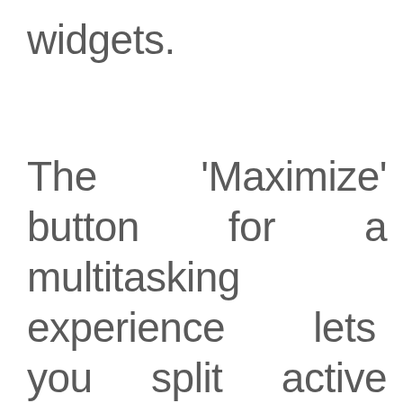widgets.
The 'Maximize' button for a multitasking experience lets you split active screens, a feature Microsoft calls a 'snap layout'.